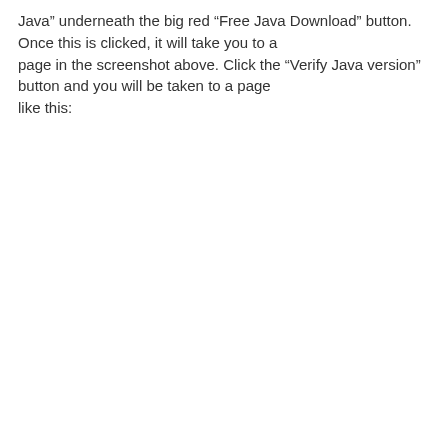Java” underneath the big red “Free Java Download” button. Once this is clicked, it will take you to a page in the screenshot above. Click the “Verify Java version” button and you will be taken to a page like this: